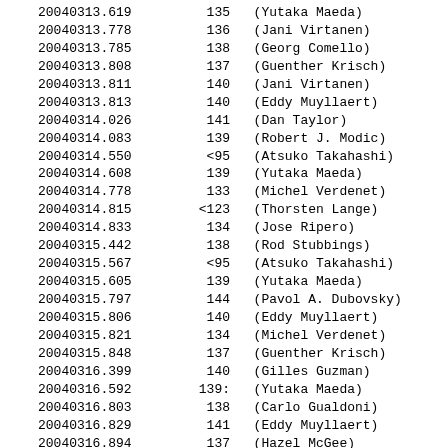20040313.619   135   (Yutaka Maeda)
20040313.778   136   (Jani Virtanen)
20040313.785   138   (Georg Comello)
20040313.808   137   (Guenther Krisch)
20040313.811   140   (Jani Virtanen)
20040313.813   140   (Eddy Muyllaert)
20040314.026   141   (Dan Taylor)
20040314.083   139   (Robert J. Modic)
20040314.550   <95   (Atsuko Takahashi)
20040314.608   139   (Yutaka Maeda)
20040314.778   133   (Michel Verdenet)
20040314.815  <123   (Thorsten Lange)
20040314.833   134   (Jose Ripero)
20040315.442   138   (Rod Stubbings)
20040315.567   <95   (Atsuko Takahashi)
20040315.605   139   (Yutaka Maeda)
20040315.797   144   (Pavol A. Dubovsky)
20040315.806   140   (Eddy Muyllaert)
20040315.821   134   (Michel Verdenet)
20040315.848   137   (Guenther Krisch)
20040316.399   140   (Gilles Guzman)
20040316.592  139:   (Yutaka Maeda)
20040316.803   138   (Carlo Gualdoni)
20040316.829   141   (Eddy Muyllaert)
20040316.894   137   (Hazel McGee)
20040317.792  <123   (Thorsten Lange)
20040317.813   142   (Carlo Gualdoni)
20040317.817   144   (Pavol A. Dubovsky)
20040317.860   139   (Gary Poyner)
20040318.829  <131   (Jose Ripero)